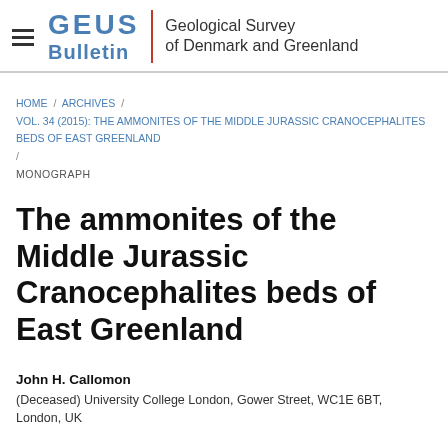GEUS Bulletin | Geological Survey of Denmark and Greenland
HOME / ARCHIVES / VOL. 34 (2015): THE AMMONITES OF THE MIDDLE JURASSIC CRANOCEPHALITES BEDS OF EAST GREENLAND / MONOGRAPH
The ammonites of the Middle Jurassic Cranocephalites beds of East Greenland
John H. Callomon
(Deceased) University College London, Gower Street, WC1E 6BT, London, UK